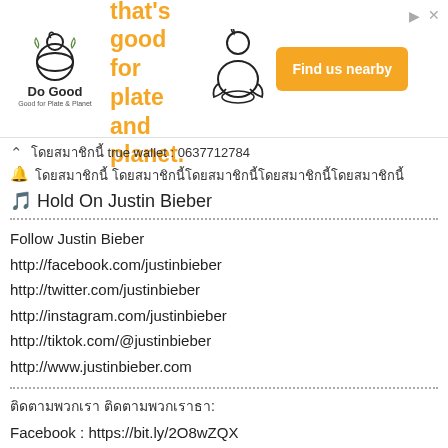[Figure (other): Do Good Chicken advertisement banner with logo, tagline 'Chicken that's good for plate and planet.' and orange 'Find us nearby' button]
ฝากบิ้วตี้ true wallet : 0637712784
🔔 ฝากบิ้วตี้ ช่วยกดดูช่วยกดซื้อให้ด้วยนะคะ
🎵 Hold On Justin Bieber
Follow Justin Bieber
http://facebook.com/justinbieber
http://twitter.com/justinbieber
http://instagram.com/justinbieber
http://tiktok.com/@justinbieber
http://www.justinbieber.com
ติดตามพวกเรา:
Facebook : https://bit.ly/2O8wZQX
Youtube : https://bit.ly/2NARMLN
Website : http://translatesongstudio.com/
Email : 002suprapolarbram@gmail.com